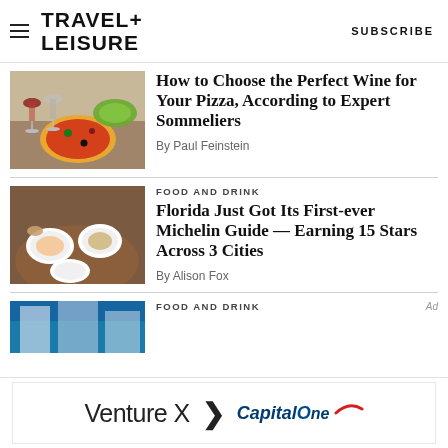TRAVEL+ LEISURE | SUBSCRIBE
[Figure (photo): Pizza on table with wine glasses]
How to Choose the Perfect Wine for Your Pizza, According to Expert Sommeliers
By Paul Feinstein
FOOD AND DRINK
[Figure (photo): Overhead view of fine dining plates on a round table]
Florida Just Got Its First-ever Michelin Guide — Earning 15 Stars Across 3 Cities
By Alison Fox
FOOD AND DRINK
[Figure (photo): Partial view of a building/hotel exterior]
[Figure (advertisement): Venture X > Capital One ad banner]